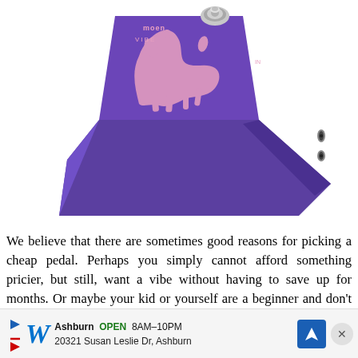[Figure (photo): Purple guitar effects pedal (Moen Vibe) with pink decorative design, shown at an angle, with a footswitch on top and audio jacks on the side.]
We believe that there are sometimes good reasons for picking a cheap pedal. Perhaps you simply cannot afford something pricier, but still, want a vibe without having to save up for months. Or maybe your kid or yourself are a beginner and don't want to spend too much on something you're not quite sure how much you will actually use.
[Figure (screenshot): Advertisement bar: Walgreens logo with Ashburn OPEN 8AM-10PM, address 20321 Susan Leslie Dr, Ashburn, with a blue navigation icon and a close button.]